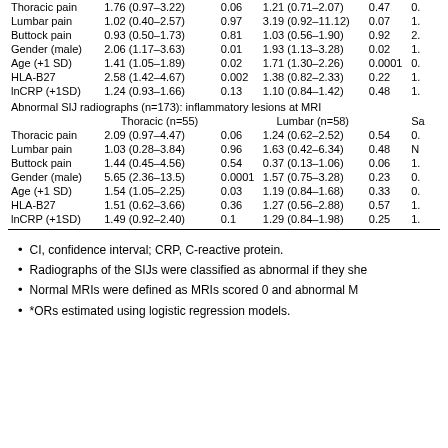|  | Thoracic (n=55) |  | Lumbar (n=58) |  | Sa |
| --- | --- | --- | --- | --- | --- |
| Thoracic pain | 1.76 (0.97–3.22) | 0.06 | 1.21 (0.71–2.07) | 0.47 | 0. |
| Lumbar pain | 1.02 (0.40–2.57) | 0.97 | 3.19 (0.92–11.12) | 0.07 | 1. |
| Buttock pain | 0.93 (0.50–1.73) | 0.81 | 1.03 (0.56–1.90) | 0.92 | 2. |
| Gender (male) | 2.06 (1.17–3.63) | 0.01 | 1.93 (1.13–3.28) | 0.02 | 1. |
| Age (+1 SD) | 1.41 (1.05–1.89) | 0.02 | 1.71 (1.30–2.26) | 0.0001 | 0. |
| HLA-B27 | 2.58 (1.42–4.67) | 0.002 | 1.38 (0.82–2.33) | 0.22 | 1. |
| lnCRP (+1SD) | 1.24 (0.93–1.66) | 0.13 | 1.10 (0.84–1.42) | 0.48 | 1. |
| Abnormal SIJ radiographs (n=173): inflammatory lesions at MRI |  |  |  |  |  |
|  | Thoracic (n=55) |  | Lumbar (n=58) |  | Sa |
| Thoracic pain | 2.09 (0.97–4.47) | 0.06 | 1.24 (0.62–2.52) | 0.54 | 0. |
| Lumbar pain | 1.03 (0.28–3.84) | 0.96 | 1.63 (0.42–6.34) | 0.48 | N |
| Buttock pain | 1.44 (0.45–4.56) | 0.54 | 0.37 (0.13–1.06) | 0.06 | 1. |
| Gender (male) | 5.65 (2.36–13.5) | 0.0001 | 1.57 (0.75–3.28) | 0.23 | 0. |
| Age (+1 SD) | 1.54 (1.05–2.25) | 0.03 | 1.19 (0.84–1.68) | 0.33 | 0. |
| HLA-B27 | 1.51 (0.62–3.66) | 0.36 | 1.27 (0.56–2.88) | 0.57 | 1. |
| lnCRP (+1SD) | 1.49 (0.92–2.40) | 0.1 | 1.29 (0.84–1.98) | 0.25 | 1. |
CI, confidence interval; CRP, C-reactive protein.
Radiographs of the SIJs were classified as abnormal if they she
Normal MRIs were defined as MRIs scored 0 and abnormal M
*ORs estimated using logistic regression models.